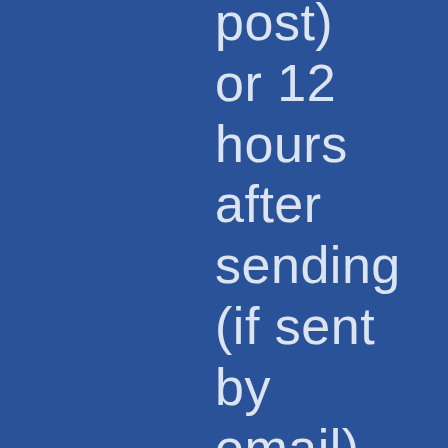post) or 12 hours after sending (if sent by email). You may give notice to Tri Delta Transit, with such notice deemed